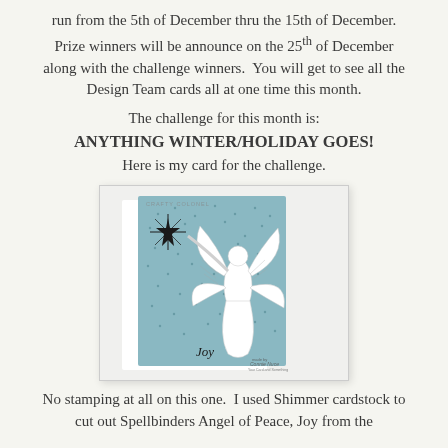run from the 5th of December thru the 15th of December. Prize winners will be announce on the 25th of December along with the challenge winners. You will get to see all the Design Team cards all at one time this month.
The challenge for this month is:
ANYTHING WINTER/HOLIDAY GOES!
Here is my card for the challenge.
[Figure (photo): A handmade greeting card featuring a white die-cut angel with filigree wings reaching toward a dark star, set against a light blue shimmer cardstock background with small dot embossing. A watermark reads 'CRAFTY COLONEL' in the upper left and a maker's mark in the bottom right. The word 'Joy' is scripted near the bottom of the card. The card is displayed propped open on a white surface.]
No stamping at all on this one. I used Shimmer cardstock to cut out Spellbinders Angel of Peace, Joy from the